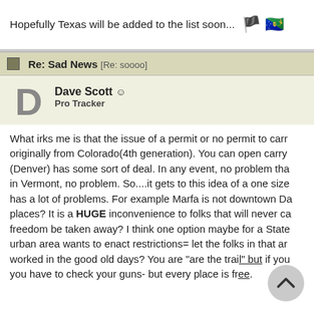Hopefully Texas will be added to the list soon... 🏳️
Re: Sad News [Re: soooo]
Dave Scott ☺
Pro Tracker
What irks me is that the issue of a permit or no permit to carr... originally from Colorado(4th generation). You can open carry (Denver) has some sort of deal. In any event, no problem tha... in Vermont, no problem. So....it gets to this idea of a one size has a lot of problems. For example Marfa is not downtown Da... places? It is a HUGE inconvenience to folks that will never ca... freedom be taken away? I think one option maybe for a State urban area wants to enact restrictions= let the folks in that ar... worked in the good old days? You are "are the trail" but if you you have to check your guns- but every place is free.